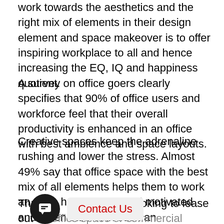work towards the aesthetics and the right mix of elements in their design element and space makeover is to offer inspiring workplace to all and hence increasing the EQ, IQ and happiness quotient.
A survey on office goers clearly specifies that 90% of office users and workforce feel that their overall productivity is enhanced in an office with best ambience and space layouts.
Creative spaces keep the adrenaline rushing and lower the stress. Almost 49% say that office space with the best mix of all elements helps them to work an extra hour as they feel motivated and taken care of in such an environment.
[Figure (other): Chat icon button (dark circle with speech bubble icon) and a Contact Us pill button in red text on light background]
Thus when one is looking to lease out an office space or commercial workplace one needs to keenly look for